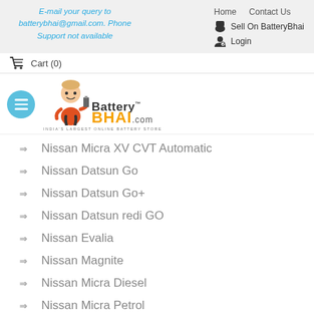E-mail your query to batterybhai@gmail.com. Phone Support not available
Home   Contact Us
Sell On BatteryBhai
Login
Cart (0)
[Figure (logo): BatteryBhai.com logo with cartoon character and text 'INDIA'S LARGEST ONLINE BATTERY STORE']
Nissan Micra XV CVT Automatic
Nissan Datsun Go
Nissan Datsun Go+
Nissan Datsun redi GO
Nissan Evalia
Nissan Magnite
Nissan Micra Diesel
Nissan Micra Petrol